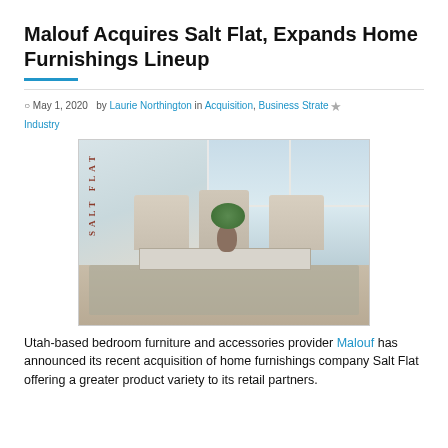Malouf Acquires Salt Flat, Expands Home Furnishings Lineup
May 1, 2020  by Laurie Northington in Acquisition, Business Strategy, Industry
[Figure (photo): Dining room scene showing a table with upholstered chairs and a vase with plant on the table, with Salt Flat logo written vertically on the left side of the image]
Utah-based bedroom furniture and accessories provider Malouf has announced its recent acquisition of home furnishings company Salt Flat offering a greater product variety to its retail partners.